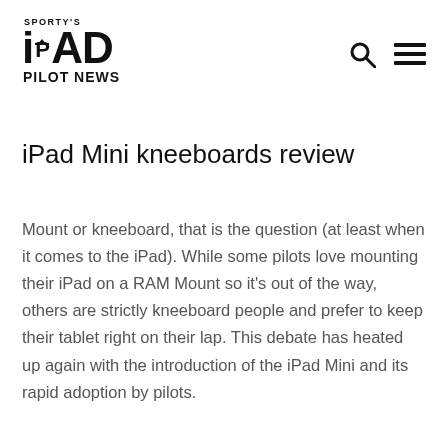SPORTY'S iPad PILOT NEWS
iPad Mini kneeboards review
Mount or kneeboard, that is the question (at least when it comes to the iPad). While some pilots love mounting their iPad on a RAM Mount so it's out of the way, others are strictly kneeboard people and prefer to keep their tablet right on their lap. This debate has heated up again with the introduction of the iPad Mini and its rapid adoption by pilots.